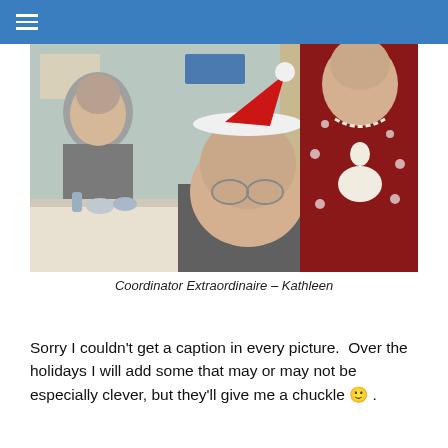[Figure (photo): Elderly people at a holiday gathering. A man in a Santa hat sits at a table while a woman in a red Christmas sweater with a white reindeer design and pearl necklace stands beside him smiling. Another elderly woman in grey is visible to the left. They are in a gymnasium or community hall.]
Coordinator Extraordinaire – Kathleen
Sorry I couldn't get a caption in every picture. Over the holidays I will add some that may or may not be especially clever, but they'll give me a chuckle 🙂 .